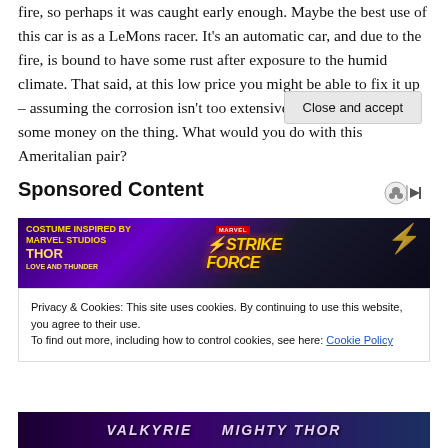fire, so perhaps it was caught early enough. Maybe the best use of this car is as a LeMons racer. It's an automatic car, and due to the fire, is bound to have some rust after exposure to the humid climate. That said, at this low price you might be able to fix it up – assuming the corrosion isn't too extensive – and actually make some money on the thing. What would you do with this Ameritalian pair?
Sponsored Content
[Figure (photo): Marvel Thor Love and Thunder / Strike Force game advertisement banner with purple background and lightning effects]
Privacy & Cookies: This site uses cookies. By continuing to use this website, you agree to their use.
To find out more, including how to control cookies, see here: Cookie Policy
[Figure (photo): Bottom portion of advertisement showing Valkyrie and Mighty Thor text]